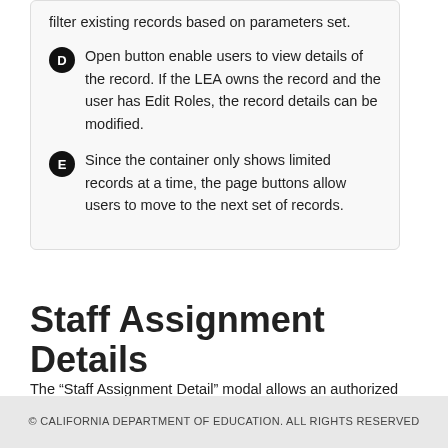filter existing records based on parameters set.
D  Open button enable users to view details of the record. If the LEA owns the record and the user has Edit Roles, the record details can be modified.
E  Since the container only shows limited records at a time, the page buttons allow users to move to the next set of records.
Staff Assignment Details
The “Staff Assignment Detail” modal allows an authorized user to update a selected staff member’s assignment information that
© CALIFORNIA DEPARTMENT OF EDUCATION. ALL RIGHTS RESERVED